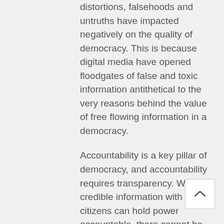distortions, falsehoods and untruths have impacted negatively on the quality of democracy. This is because digital media have opened floodgates of false and toxic information antithetical to the very reasons behind the value of free flowing information in a democracy.
Accountability is a key pillar of democracy, and accountability requires transparency. Without credible information with which citizens can hold power accountable, there cannot be transparency and in turn, accountable governance. Only flawed democracy festers.
Sadly, rogue governments in the